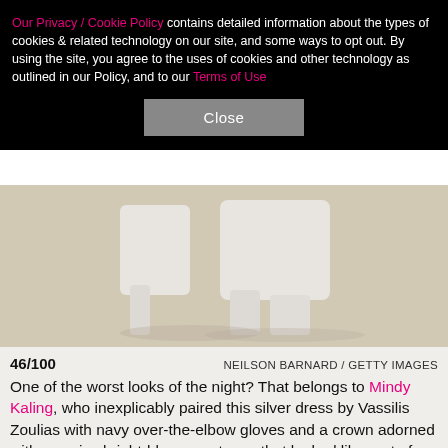Our Privacy / Cookie Policy contains detailed information about the types of cookies & related technology on our site, and some ways to opt out. By using the site, you agree to the uses of cookies and other technology as outlined in our Policy, and to our Terms of Use
Close
[Figure (photo): Close-up photo of white sculptural footwear/shoes on a beige background]
46/100   NEILSON BARNARD / GETTY IMAGES
One of the worst looks of the night? That belongs to Mindy Kaling, who inexplicably paired this silver dress by Vassilis Zoulias with navy over-the-elbow gloves and a crown adorned with massive bright-blue gemstones that looked like part of a kid's halloween costume. No, seriously, you've got to see this crown up close!